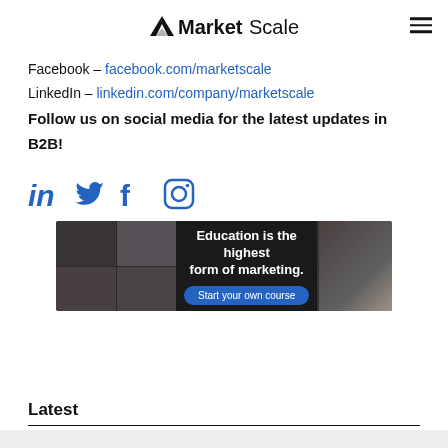MarketScale
Facebook – facebook.com/marketscale
LinkedIn – linkedin.com/company/marketscale
Follow us on social media for the latest updates in B2B!
[Figure (infographic): Social media icons: LinkedIn, Twitter, Facebook, Instagram in blue]
[Figure (infographic): Advertisement banner with dark background showing video thumbnails on the left, text 'Education is the highest form of marketing.' with a blue 'Start your own course' button in the center, and a laptop/coffee image on the right]
Latest